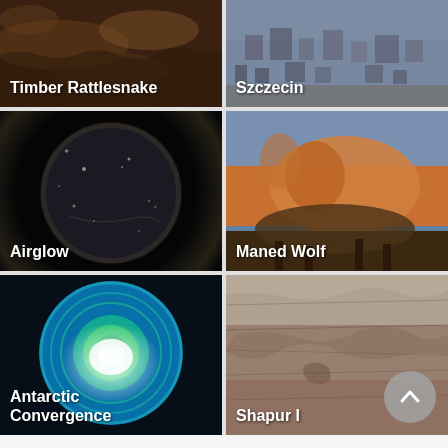[Figure (photo): Timber Rattlesnake photo with label overlay]
[Figure (photo): Aerial view of Szczecin city with label overlay]
[Figure (photo): Airglow - dark sphere/Earth glow photo with label overlay]
[Figure (photo): Maned Wolf standing in field with label overlay]
[Figure (photo): Antarctic Convergence globe visualization with label overlay]
[Figure (photo): Shapur I rock carving with label overlay and scroll-up button]
ABOUT THIS ARTICLE